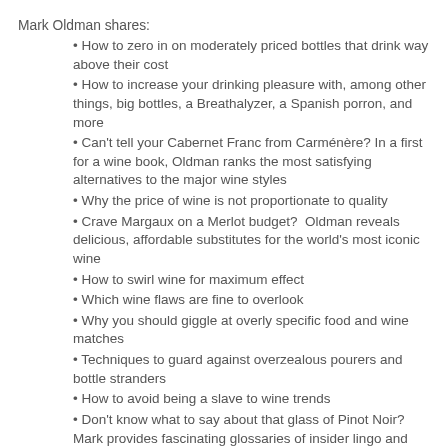Mark Oldman shares:
How to zero in on moderately priced bottles that drink way above their cost
How to increase your drinking pleasure with, among other things, big bottles, a Breathalyzer, a Spanish porron, and more
Can't tell your Cabernet Franc from Carménère? In a first for a wine book, Oldman ranks the most satisfying alternatives to the major wine styles
Why the price of wine is not proportionate to quality
Crave Margaux on a Merlot budget?  Oldman reveals delicious, affordable substitutes for the world's most iconic wine
How to swirl wine for maximum effect
Which wine flaws are fine to overlook
Why you should giggle at overly specific food and wine matches
Techniques to guard against overzealous pourers and bottle stranders
How to avoid being a slave to wine trends
Don't know what to say about that glass of Pinot Noir? Mark provides fascinating glossaries of insider lingo and French expressions that will help readers convey instant savoir-faire
The best (and worst) wines to gift as a gift